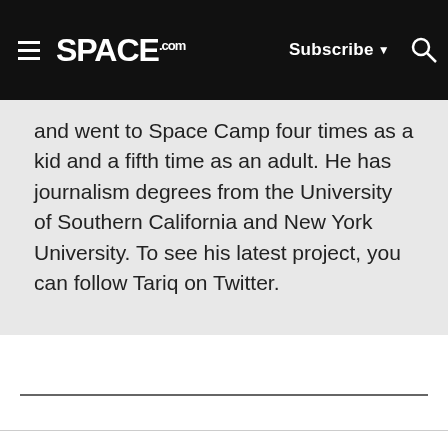SPACE.com | Subscribe | Search
and went to Space Camp four times as a kid and a fifth time as an adult. He has journalism degrees from the University of Southern California and New York University. To see his latest project, you can follow Tariq on Twitter.